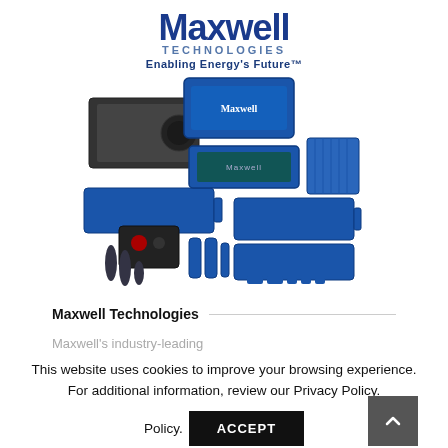[Figure (logo): Maxwell Technologies logo with blue stylized text 'Maxwell' above 'TECHNOLOGIES' and tagline 'Enabling Energy's Future™']
[Figure (photo): Product photo showing various Maxwell Technologies energy storage products including ultracapacitors, battery modules, and cylindrical cells arranged together]
Maxwell Technologies
Maxwell's industry-leading
This website uses cookies to improve your browsing experience. For additional information, review our Privacy Policy.